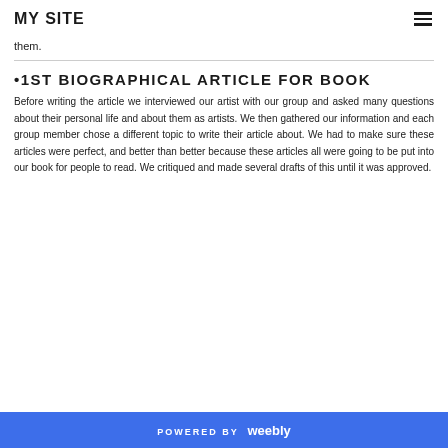MY SITE
them.
•1ST BIOGRAPHICAL ARTICLE FOR BOOK
Before writing the article we interviewed our artist with our group and asked many questions about their personal life and about them as artists. We then gathered our information and each group member chose a different topic to write their article about. We had to make sure these articles were perfect, and better than better because these articles all were going to be put into our book for people to read. We critiqued and made several drafts of this until it was approved.
POWERED BY weebly